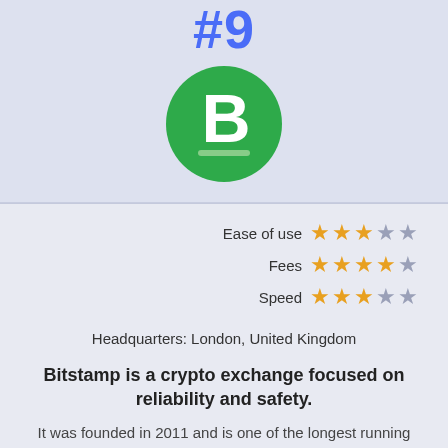#9
[Figure (logo): Bitstamp logo — green circle with white stylized 'B' and two horizontal lines below]
Ease of use ★★★☆☆
Fees ★★★★☆
Speed ★★★☆☆
Headquarters: London, United Kingdom
Bitstamp is a crypto exchange focused on reliability and safety.
It was founded in 2011 and is one of the longest running fiat to crypto exchanges in the world.